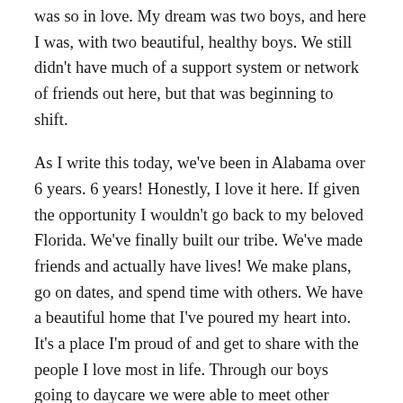was so in love. My dream was two boys, and here I was, with two beautiful, healthy boys. We still didn't have much of a support system or network of friends out here, but that was beginning to shift.
As I write this today, we've been in Alabama over 6 years. 6 years! Honestly, I love it here. If given the opportunity I wouldn't go back to my beloved Florida. We've finally built our tribe. We've made friends and actually have lives! We make plans, go on dates, and spend time with others. We have a beautiful home that I've poured my heart into. It's a place I'm proud of and get to share with the people I love most in life. Through our boys going to daycare we were able to meet other parents and families. There is a group of us that all just sort of clicked. Some have family here, and some like us,